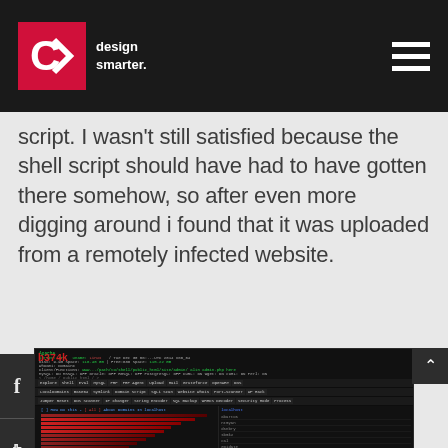CK design smarter.
script. I wasn't still satisfied because the shell script should have had to have gotten there somehow, so after even more digging around i found that it was uploaded from a remotely infected website.
[Figure (screenshot): Screenshot of b374k web shell interface showing file manager with red horizontal bars indicating file sizes/activity on the left panel, and a list of directory/domain names on the right panel. The interface has a dark theme with a top navigation menu bar.]